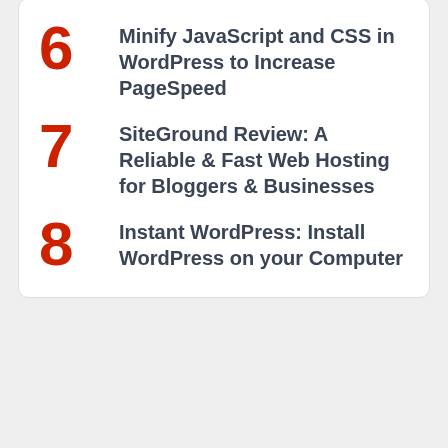6 Minify JavaScript and CSS in WordPress to Increase PageSpeed
7 SiteGround Review: A Reliable & Fast Web Hosting for Bloggers & Businesses
8 Instant WordPress: Install WordPress on your Computer